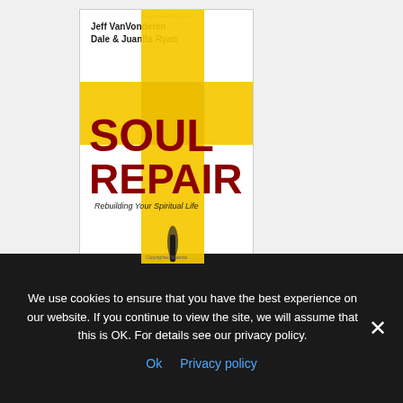[Figure (photo): Book cover of 'Soul Repair: Rebuilding Your Spiritual Life' by Jeff VanVonderen, Dale & Juanita Ryan. White background with large yellow cross shape and dark red bold title text 'SOUL REPAIR', subtitle 'Rebuilding Your Spiritual Life'.]
[Figure (photo): Partial book cover of 'Rooted' showing a dark black-and-white forest/tree image with yellow italic script title 'Rooted'.]
We use cookies to ensure that you have the best experience on our website. If you continue to view the site, we will assume that this is OK. For details see our privacy policy.
Ok  Privacy policy